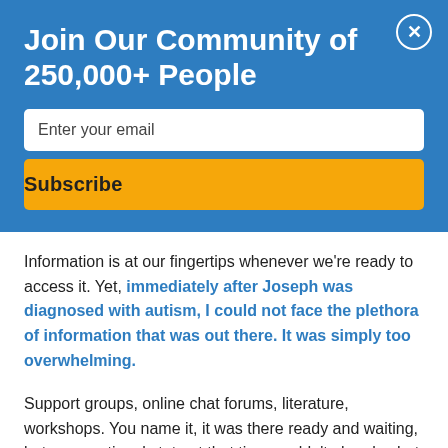Join Our Community of 250,000+ People
Enter your email
Subscribe
Information is at our fingertips whenever we're ready to access it. Yet, immediately after Joseph was diagnosed with autism, I could not face the plethora of information that was out there. It was simply too overwhelming.
Support groups, online chat forums, literature, workshops. You name it, it was there ready and waiting, but my emotional state at that time couldn't absorb what I knew was there to help me.